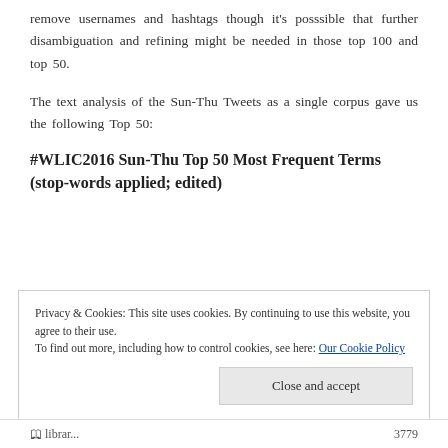remove usernames and hashtags though it's posssible that further disambiguation and refining might be needed in those top 100 and top 50.
The text analysis of the Sun-Thu Tweets as a single corpus gave us the following Top 50:
#WLIC2016 Sun-Thu Top 50 Most Frequent Terms (stop-words applied; edited)
Privacy & Cookies: This site uses cookies. By continuing to use this website, you agree to their use. To find out more, including how to control cookies, see here: Our Cookie Policy
Close and accept